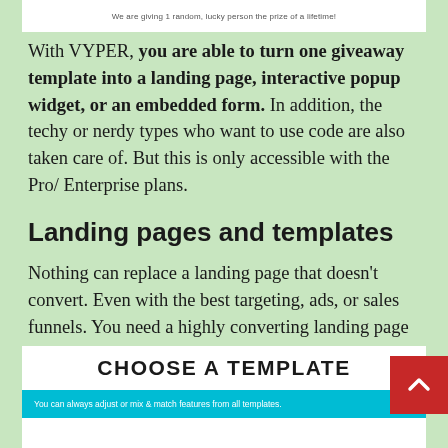We are giving 1 random, lucky person the prize of a lifetime!
With VYPER, you are able to turn one giveaway template into a landing page, interactive popup widget, or an embedded form. In addition, the techy or nerdy types who want to use code are also taken care of. But this is only accessible with the Pro/ Enterprise plans.
Landing pages and templates
Nothing can replace a landing page that doesn't convert. Even with the best targeting, ads, or sales funnels. You need a highly converting landing page if you want to grow your business.
[Figure (screenshot): CHOOSE A TEMPLATE panel with a teal bar reading 'You can always adjust or mix & match features from all templates.' and a red scroll-to-top button with a chevron icon.]